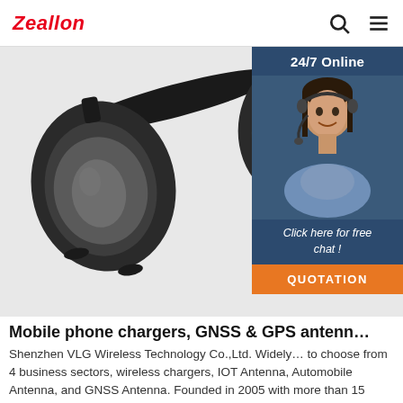Zeallon
[Figure (photo): Black over-ear headphone shown from the side against a white background, with a circular ear cup visible in detail.]
[Figure (infographic): 24/7 Online chat widget with a customer service woman wearing a headset, text 'Click here for free chat!' and an orange QUOTATION button.]
Mobile phone chargers, GNSS & GPS antenn…
Shenzhen VLG Wireless Technology Co.,Ltd. Widely… to choose from 4 business sectors, wireless chargers, IOT Antenna, Automobile Antenna, and GNSS Antenna. Founded in 2005 with more than 15 years experience in designing and ...
Get Price